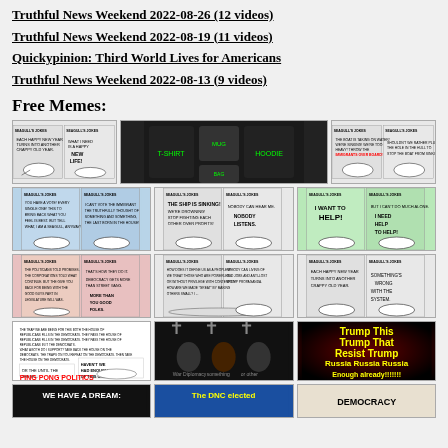Truthful News Weekend 2022-08-26 (12 videos)
Truthful News Weekend 2022-08-19 (11 videos)
Quickypinion: Third World Lives for Americans
Truthful News Weekend 2022-08-13 (9 videos)
Free Memes:
[Figure (illustration): Row of three cartoon comic strip panels showing bird character with speech bubbles about new year and new life]
[Figure (illustration): Row of merchandise items - t-shirts, mug, hoodie, bag with logo]
[Figure (illustration): Row of two cartoon comic strip panels about immigrants on boat]
[Figure (illustration): Row of cartoon comic strips with blue background about politics]
[Figure (illustration): Row of cartoon comic strips about sinking ship, nobody listens, I want to help]
[Figure (illustration): Row of cartoon strips pink background about democracy, street gangs]
[Figure (illustration): Row of cartoon strips about people without privilege, happy new year something wrong with system]
[Figure (illustration): Ping Pong Politics cartoon strip with text about Republicans and Democrats]
[Figure (illustration): Dark image with crosses and bomb shapes]
[Figure (illustration): Dark red background with yellow text: Trump This Trump That Resist Trump Russia Russia Russia Enough already!!!!!!!]
[Figure (illustration): Black background: WE HAVE A DREAM:]
[Figure (illustration): Blue background yellow text: The DNC elected]
[Figure (illustration): Light background: DEMOCRACY text]